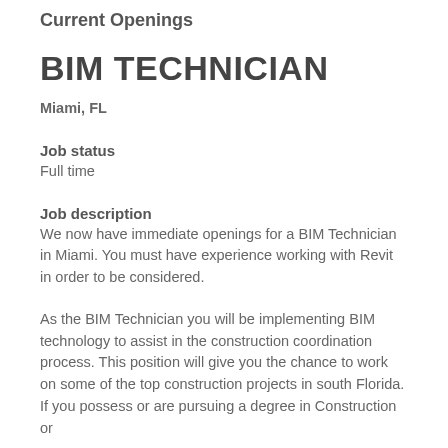Current Openings
BIM TECHNICIAN
Miami, FL
Job status
Full time
Job description
We now have immediate openings for a BIM Technician in Miami. You must have experience working with Revit in order to be considered.
As the BIM Technician you will be implementing BIM technology to assist in the construction coordination process. This position will give you the chance to work on some of the top construction projects in south Florida. If you possess or are pursuing a degree in Construction or